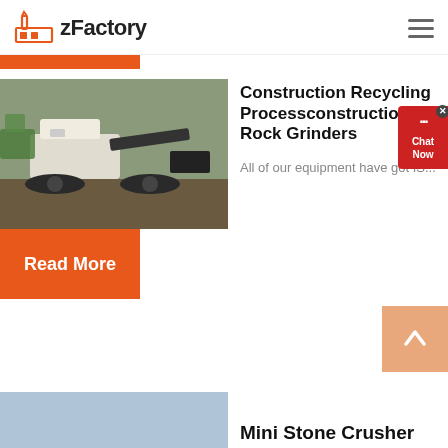zFactory
[Figure (logo): zFactory logo with orange factory icon and bold text]
[Figure (photo): Construction recycling machine / rock grinder on job site, tracked vehicle with grinding attachment]
Construction Recycling Processconstruction Rock Grinders
All of our equipment have got IS...
Read More
Mini Stone Crusher